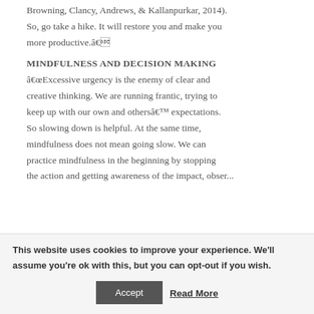Browning, Clancy, Andrews, & Kallanpurkar, 2014). So, go take a hike. It will restore you and make you more productive.â
MINDFULNESS AND DECISION MAKING
âExcessive urgency is the enemy of clear and creative thinking. We are running frantic, trying to keep up with our own and othersâ expectations. So slowing down is helpful. At the same time, mindfulness does not mean going slow. We can practice mindfulness in the beginning by stopping the action and getting awareness of the impact, observing
This website uses cookies to improve your experience. We'll assume you're ok with this, but you can opt-out if you wish.
Accept
Read More